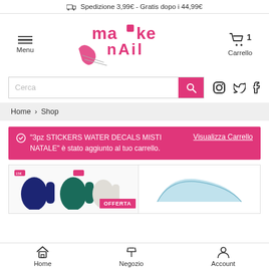🚚 Spedizione 3,99€ - Gratis dopo i 44,99€
[Figure (logo): Make Nail logo with pink stylized text and nail/hand illustration]
Menu
🛒 1 Carrello
Cerca
Home › Shop
"3pz STICKERS WATER DECALS MISTI NATALE" è stato aggiunto al tuo carrello. Visualizza Carrello
[Figure (photo): Nail gel product items with OFFERTA badge]
[Figure (photo): Nail shape/tip product]
Home   Negozio   Account